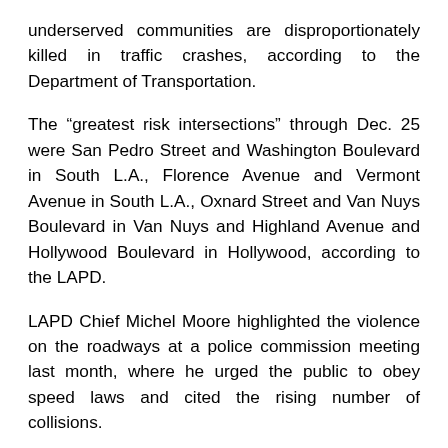underserved communities are disproportionately killed in traffic crashes, according to the Department of Transportation.
The “greatest risk intersections” through Dec. 25 were San Pedro Street and Washington Boulevard in South L.A., Florence Avenue and Vermont Avenue in South L.A., Oxnard Street and Van Nuys Boulevard in Van Nuys and Highland Avenue and Hollywood Boulevard in Hollywood, according to the LAPD.
LAPD Chief Michel Moore highlighted the violence on the roadways at a police commission meeting last month, where he urged the public to obey speed laws and cited the rising number of collisions.
“We’ve seen these dramatic increases,” Moore told the